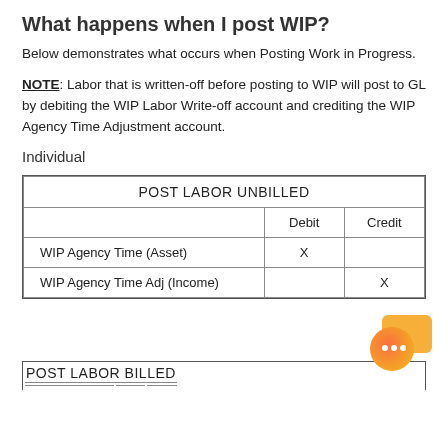What happens when I post WIP?
Below demonstrates what occurs when Posting Work in Progress.
NOTE: Labor that is written-off before posting to WIP will post to GL by debiting the WIP Labor Write-off account and crediting the WIP Agency Time Adjustment account.
Individual
| POST LABOR UNBILLED |  |  |
| --- | --- | --- |
|  | Debit | Credit |
| WIP Agency Time (Asset) | X |  |
| WIP Agency Time Adj (Income) |  | X |
| POST LABOR BILLED |  |  |
| --- | --- | --- |